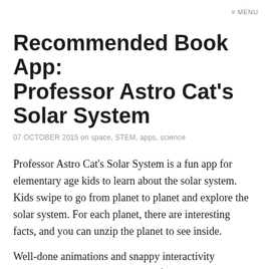≡ MENU
Recommended Book App: Professor Astro Cat's Solar System
07 OCTOBER 2015 on space, STEM, apps, science
Professor Astro Cat's Solar System is a fun app for elementary age kids to learn about the solar system. Kids swipe to go from planet to planet and explore the solar system. For each planet, there are interesting facts, and you can unzip the planet to see inside.
Well-done animations and snappy interactivity contribute to the exploration. My favorite was an